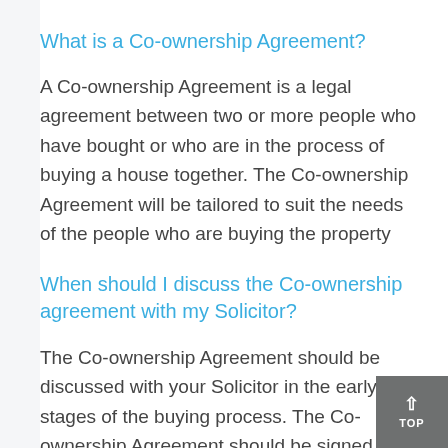What is a Co-ownership Agreement?
A Co-ownership Agreement is a legal agreement between two or more people who have bought or who are in the process of buying a house together. The Co-ownership Agreement will be tailored to suit the needs of the people who are buying the property
When should I discuss the Co-ownership agreement with my Solicitor?
The Co-ownership Agreement should be discussed with your Solicitor in the early stages of the buying process. The Co-ownership Agreement should be signed at the same time